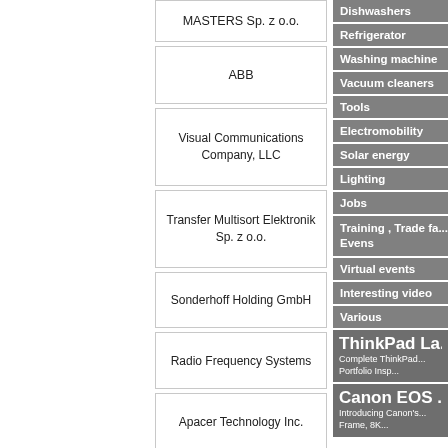| MASTERS Sp. z o.o. |
| ABB |
| Visual Communications Company, LLC |
| Transfer Multisort Elektronik Sp. z o.o. |
| Sonderhoff Holding GmbH |
| Radio Frequency Systems |
| Apacer Technology Inc. |
| LEM |
| MENCOM |
Dishwashers
Refrigerator
Washing machine
Vacuum cleaners
Tools
Electromobility
Solar energy
Lighting
Jobs
Training , Trade fa... Evens
Virtual events
Interesting video
Various
ThinkPad La...
Complete ThinkPad... Portfolio Insp...
Canon EOS ...
Introducing Canon's... Frame, 8K...